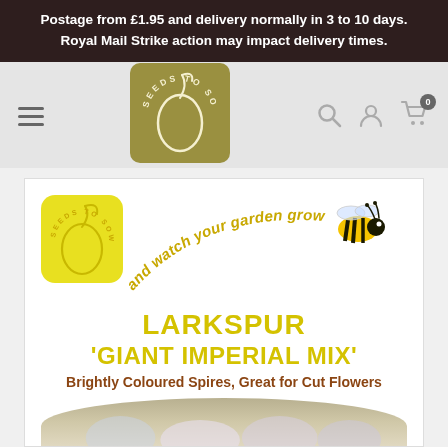Postage from £1.95 and delivery normally in 3 to 10 days. Royal Mail Strike action may impact delivery times.
[Figure (logo): Seeds to Sow brand logo — olive/gold square with white line art of a seed and plant sprout, text 'SEEDS TO SOW' around the shape in the navigation bar]
[Figure (illustration): Seed packet product card: Seeds to Sow yellow logo badge top left, bee illustration top right, curved italic text 'and watch your garden grow', bold yellow title 'LARKSPUR', bold yellow subtitle '''GIANT IMPERIAL MIX''', brown bold text 'Brightly Coloured Spires, Great for Cut Flowers', circular photo of larkspur flowers at bottom]
LARKSPUR
'GIANT IMPERIAL MIX'
Brightly Coloured Spires, Great for Cut Flowers